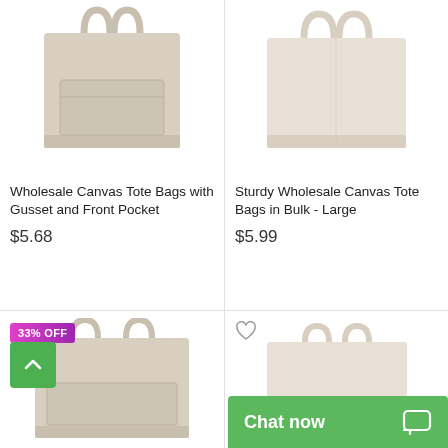[Figure (photo): Wholesale Canvas Tote Bag with Gusset and Front Pocket - beige/natural color tote bag photo]
Wholesale Canvas Tote Bags with Gusset and Front Pocket
$5.68
[Figure (photo): Sturdy Wholesale Canvas Tote Bags in Bulk - Large - beige/natural color tote bag photo]
Sturdy Wholesale Canvas Tote Bags in Bulk - Large
$5.99
[Figure (photo): Canvas tote bag with 33% OFF badge - natural color]
[Figure (photo): Canvas tote bag with heart/wishlist icon - natural color, shorter style]